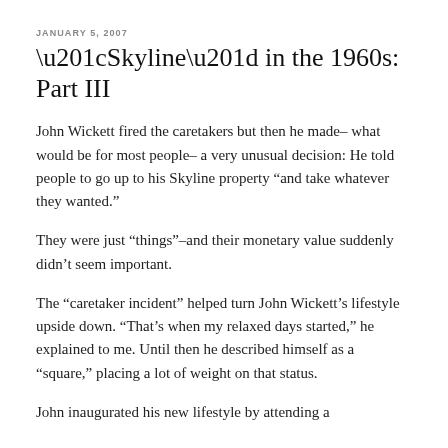JANUARY 5, 2007
“Skyline” in the 1960s: Part III
John Wickett fired the caretakers but then he made– what would be for most people– a very unusual decision: He told people to go up to his Skyline property “and take whatever they wanted.”
They were just “things”–and their monetary value suddenly didn’t seem important.
The “caretaker incident” helped turn John Wickett’s lifestyle upside down. “That’s when my relaxed days started,” he explained to me. Until then he described himself as a “square,” placing a lot of weight on that status.
John inaugurated his new lifestyle by attending a